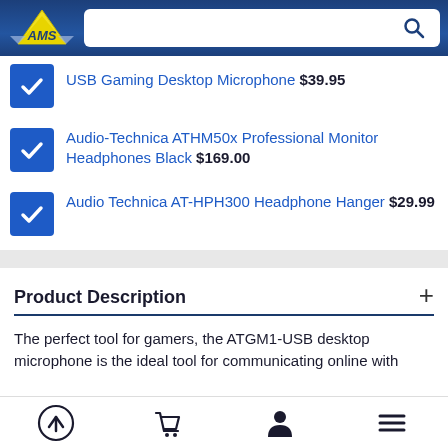AMS logo and search bar
Audio-Technica ATGM1-USB Gaming Desktop Microphone $39.95
Audio-Technica ATHM50x Professional Monitor Headphones Black $169.00
Audio Technica AT-HPH300 Headphone Hanger $29.99
Product Description
The perfect tool for gamers, the ATGM1-USB desktop microphone is the ideal tool for communicating online with
Navigation bar: back-to-top, cart, account, menu